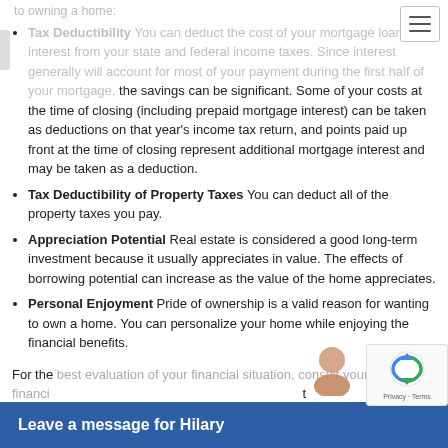to owning a home:
Tax Deductibility You can deduct the cost of your mortgage loan interest from your state and federal income taxes. Since interest generally will account for most of your payment during the first half of your mortgage, the savings can be significant. Some of your costs at the time of closing (including prepaid mortgage interest) can be taken as deductions on that year's income tax return, and points paid up front at the time of closing represent additional mortgage interest and may be taken as a deduction.
Tax Deductibility of Property Taxes You can deduct all of the property taxes you pay.
Appreciation Potential Real estate is considered a good long-term investment because it usually appreciates in value. The effects of borrowing potential can increase as the value of the home appreciates.
Personal Enjoyment Pride of ownership is a valid reason for wanting to own a home. You can personalize your home while enjoying the financial benefits.
For the best evaluation of your financial situation, consult your financial... financial... as